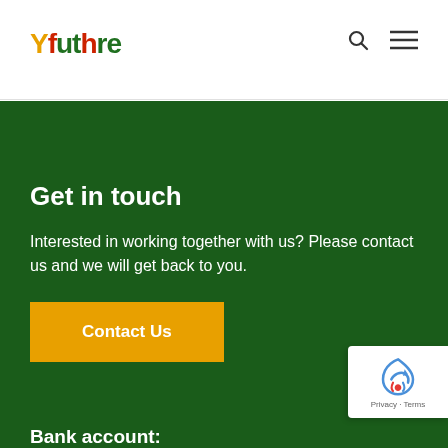[Figure (logo): Yfuture logo with stylized colorful text]
Get in touch
Interested in working together with us? Please contact us and we will get back to you.
Contact Us
Bank account:
[Figure (logo): reCAPTCHA badge with Privacy and Terms text]